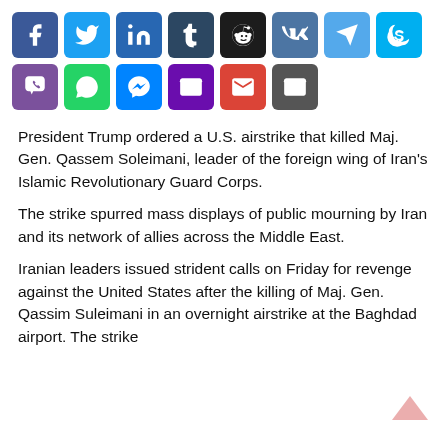[Figure (other): Social media share buttons row 1: Facebook, Twitter, LinkedIn, Tumblr, Reddit, VK, Telegram, Skype]
[Figure (other): Social media share buttons row 2: Viber, WhatsApp, Messenger, Email, Gmail, Email (dark)]
President Trump ordered a U.S. airstrike that killed Maj. Gen. Qassem Soleimani, leader of the foreign wing of Iran's Islamic Revolutionary Guard Corps.
The strike spurred mass displays of public mourning by Iran and its network of allies across the Middle East.
Iranian leaders issued strident calls on Friday for revenge against the United States after the killing of Maj. Gen. Qassim Suleimani in an overnight airstrike at the Baghdad airport. The strike